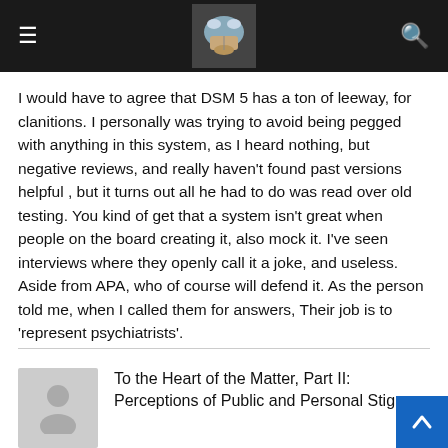[Figure (screenshot): Mobile website navigation bar with hamburger menu icon on the left, a logo (illustrated face/brain graphic) in the center, and a search icon on the right, all on a dark background.]
I would have to agree that DSM 5 has a ton of leeway, for clanitions. I personally was trying to avoid being pegged with anything in this system, as I heard nothing, but negative reviews, and really haven't found past versions helpful , but it turns out all he had to do was read over old testing. You kind of get that a system isn't great when people on the board creating it, also mock it. I've seen interviews where they openly call it a joke, and useless. Aside from APA, who of course will defend it. As the person told me, when I called them for answers, Their job is to 'represent psychiatrists'.
[Figure (illustration): User avatar placeholder icon (grey silhouette of a person).]
To the Heart of the Matter, Part II: Perceptions of Public and Personal Stigma